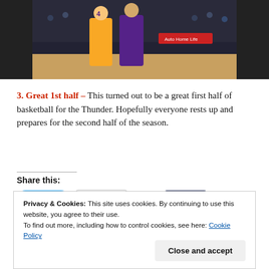[Figure (photo): Basketball game photo showing players in yellow/purple Lakers uniforms and dark Sacramento Kings uniforms on an NBA court]
3. Great 1st half – This turned out to be a great first half of basketball for the Thunder. Hopefully everyone rests up and prepares for the second half of the season.
Share this:
Privacy & Cookies: This site uses cookies. By continuing to use this website, you agree to their use. To find out more, including how to control cookies, see here: Cookie Policy
Close and accept